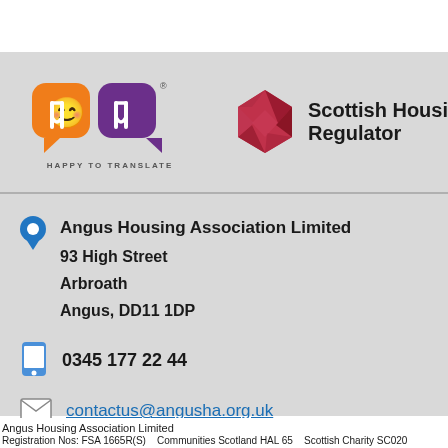[Figure (logo): Happy to Translate logo (two speech bubble icons in orange and purple) and Scottish Housing Regulator logo (dark red geometric shape) with text 'Scottish Housing Regulator']
Angus Housing Association Limited
93 High Street
Arbroath
Angus, DD11 1DP
0345 177 22 44
contactus@angusha.org.uk
Angus Housing Association Limited
Registration Nos: FSA 1665R(S)    Communities Scotland HAL 65    Scottish Charity SC020